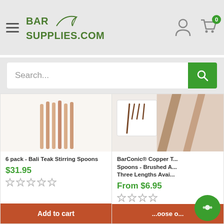[Figure (screenshot): BarSupplies.com website header with logo, hamburger menu, user icon, and cart with 0 items]
[Figure (screenshot): Search bar with placeholder text 'Search...' and green search button]
[Figure (photo): 6 pack Bali Teak Stirring Spoons product image - wooden stirring spoons]
6 pack - Bali Teak Stirring Spoons
$31.95
Add to cart
[Figure (photo): BarConic Copper Twisted Spoons - Brushed, Three Lengths Available]
BarConic® Copper T... Spoons - Brushed A... Three Lengths Avai...
From $6.95